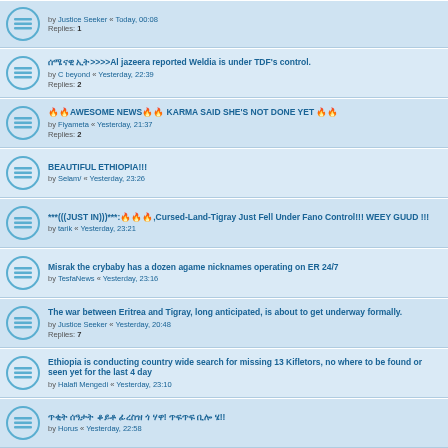by Justice Seeker « Today, 00:08 | Replies: 1
ሰሜናዊ ኢት>>>>Al jazeera reported Weldia is under TDF's control. by C beyond « Yesterday, 22:39 | Replies: 2
🔥🔥AWESOME NEWS🔥🔥 KARMA SAID SHE'S NOT DONE YET 🔥🔥 by Fiyameta « Yesterday, 21:37 | Replies: 2
BEAUTIFUL ETHIOPIA!!! by Selam/ « Yesterday, 23:26
***(((JUST IN)))***:🔥🔥🔥,Cursed-Land-Tigray Just Fell Under Fano Control!!! WEEY GUUD !!! by tarik « Yesterday, 23:21
Misrak the crybaby has a dozen agame nicknames operating on ER 24/7 by TesfaNews « Yesterday, 23:16
The war between Eritrea and Tigray, long anticipated, is about to get underway formally. by Justice Seeker « Yesterday, 20:48 | Replies: 7
Ethiopia is conducting country wide search for missing 13 Kifletors, no where to be found or seen yet for the last 4 day by Halafi Mengedi « Yesterday, 23:10
ጥቂት ሰዓታት ቆይቶ ፊረስዝ ጎ ሃዋ! ጥፍጥፍ ቢሎ ሄ!! by Horus « Yesterday, 22:58
Debrexion dead? Hasena agame media....only if he ever told facts.